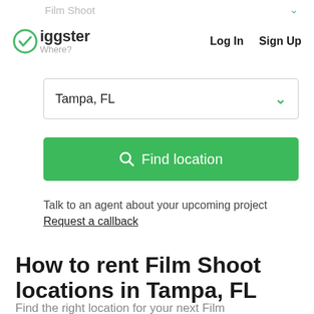Film Shoot
[Figure (logo): Giggster logo with checkmark icon and tagline 'Where?']
Log In   Sign Up
Tampa, FL
Find location
Talk to an agent about your upcoming project
Request a callback
How to rent Film Shoot locations in Tampa, FL
Find the right location for your next Film